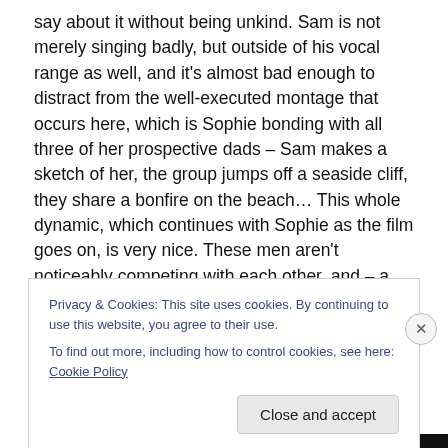say about it without being unkind. Sam is not merely singing badly, but outside of his vocal range as well, and it's almost bad enough to distract from the well-executed montage that occurs here, which is Sophie bonding with all three of her prospective dads – Sam makes a sketch of her, the group jumps off a seaside cliff, they share a bonfire on the beach… This whole dynamic, which continues with Sophie as the film goes on, is very nice. These men aren't noticeably competing with each other, and – a few scenes later when they realize what Sophie's after, are interested in the truth about Sophie's parentage,
Privacy & Cookies: This site uses cookies. By continuing to use this website, you agree to their use.
To find out more, including how to control cookies, see here: Cookie Policy
Close and accept